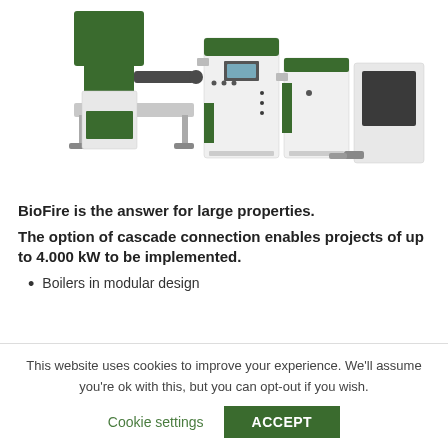[Figure (photo): Industrial biomass boiler system - BioFire product, showing green and white modular boiler units with a hopper/auger feed system on the left and multiple boiler cabinet units arranged together]
BioFire is the answer for large properties.
The option of cascade connection enables projects of up to 4.000 kW to be implemented.
Boilers in modular design
This website uses cookies to improve your experience. We'll assume you're ok with this, but you can opt-out if you wish.
Cookie settings  ACCEPT